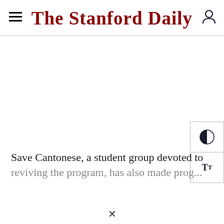The Stanford Daily
Save Cantonese, a student group devoted to
reviving the program, has also made prog...